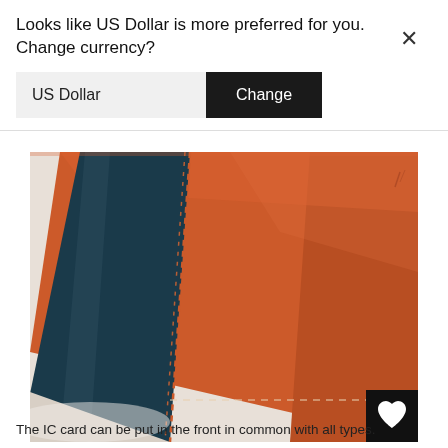Looks like US Dollar is more preferred for you. Change currency?
US Dollar
Change
[Figure (photo): Close-up photograph of an orange leather wallet with dark blue/teal card slot insert, showing stitching detail. A black heart icon button is visible in the bottom-right corner of the image.]
The IC card can be put in the front in common with all types.